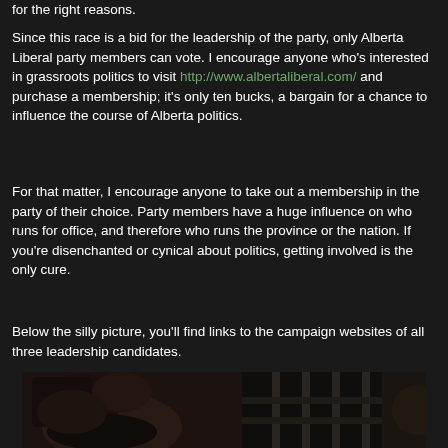for the right reasons.
Since this race is a bid for the leadership of the party, only Alberta Liberal party members can vote. I encourage anyone who's interested in grassroots politics to visit http://www.albertaliberal.com/ and purchase a membership; it's only ten bucks, a bargain for a chance to influence the course of Alberta politics.
For that matter, I encourage anyone to take out a membership in the party of their choice. Party members have a huge influence on who runs for office, and therefore who runs the province or the nation. If you're disenchanted or cynical about politics, getting involved is the only cure.
Below the silly picture, you'll find links to the campaign websites of all three leadership candidates.
[Figure (photo): A dark photograph showing a person's head and face from above/close up, with blurred background suggesting an indoor setting.]